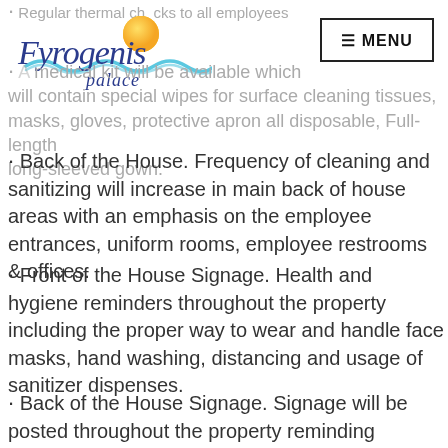Regular thermal checks to all employees
[Figure (logo): Fyrogenis Palace hotel logo with sun and wave graphic]
A medical kit will be available which will contain special wipes for surface cleaning tissues, masks, gloves, protective apron all disposable, Full-length long-sleeved gown.
Back of the House. Frequency of cleaning and sanitizing will increase in main back of house areas with an emphasis on the employee entrances, uniform rooms, employee restrooms & offices.
Front of the House Signage. Health and hygiene reminders throughout the property including the proper way to wear and handle face masks, hand washing, distancing and usage of sanitizer dispenses.
Back of the House Signage. Signage will be posted throughout the property reminding employees of the